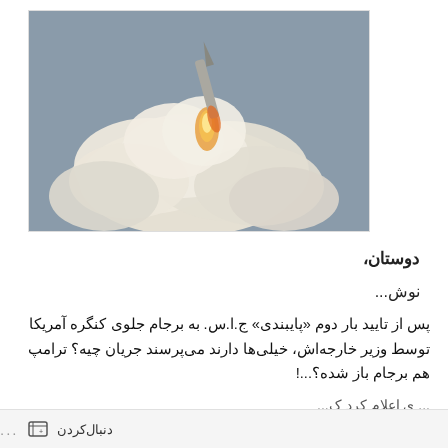[Figure (photo): Missile or rocket launch with large white smoke cloud against grey sky]
دوستان،
نوش...
پس از تایید بار دوم «پایبندی» ج.ا.س. به برجام جلوی کنگره آمریکا توسط وزیر خارجه‌اش، خیلی‌ها دارند می‌پرسند جریان چیه؟ ترامپ هم برجام باز شده؟...!
... (partial text cut off at bottom)
... دنبال‌کردن